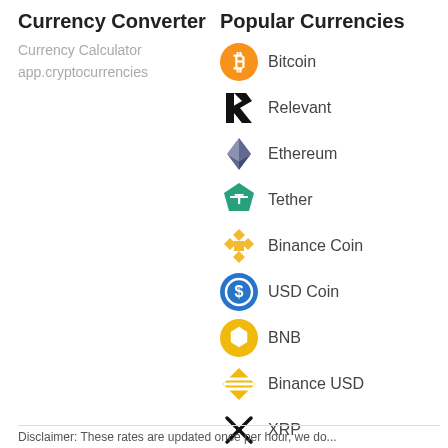Currency Converter
Currency Calculator
app.cryptocurrencies
Popular Currencies
Bitcoin
Relevant
Ethereum
Tether
Binance Coin
USD Coin
BNB
Binance USD
XRP
Cardano
Disclaimer: These rates are updated once per hour, we do...